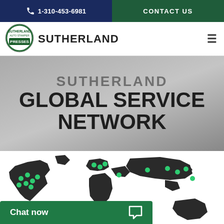1-310-453-6981   CONTACT US
SUTHERLAND
SUTHERLAND GLOBAL SERVICE NETWORK
[Figure (map): World map with green dots indicating service network locations across North America, Europe, Asia, South America, and other regions]
Chat now